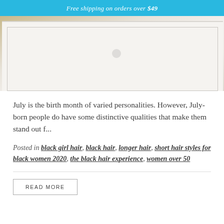Free shipping on orders over $49
[Figure (photo): Partial view of a white dresser or furniture piece with a light background]
July is the birth month of varied personalities. However, July-born people do have some distinctive qualities that make them stand out f...
Posted in black girl hair, black hair, longer hair, short hair styles for black women 2020, the black hair experience, women over 50
READ MORE